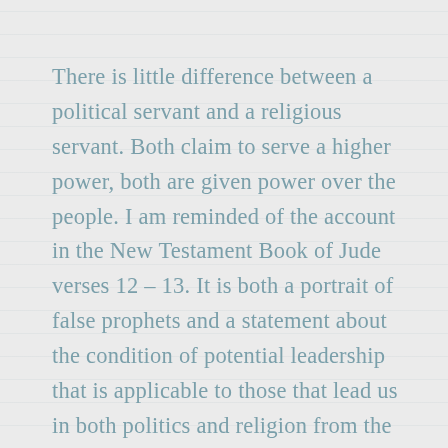There is little difference between a political servant and a religious servant. Both claim to serve a higher power, both are given power over the people. I am reminded of the account in the New Testament Book of Jude verses 12 – 13. It is both a portrait of false prophets and a statement about the condition of potential leadership that is applicable to those that lead us in both politics and religion from the past, the present and into our future.